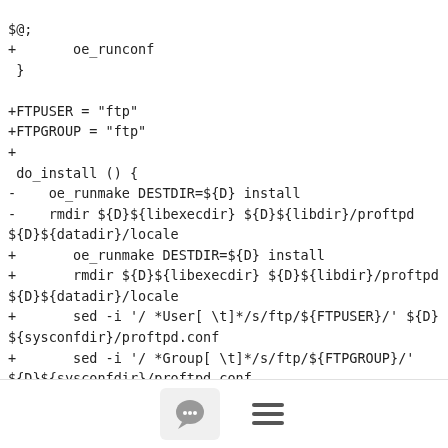$@;
+       oe_runconf
 }

+FTPUSER = "ftp"
+FTPGROUP = "ftp"
+
 do_install () {
-    oe_runmake DESTDIR=${D} install
-    rmdir ${D}${libexecdir} ${D}${libdir}/proftpd ${D}${datadir}/locale
+       oe_runmake DESTDIR=${D} install
+       rmdir ${D}${libexecdir} ${D}${libdir}/proftpd ${D}${datadir}/locale
+       sed -i '/ *User[ \t]*/s/ftp/${FTPUSER}/' ${D}${sysconfdir}/proftpd.conf
+       sed -i '/ *Group[ \t]*/s/ftp/${FTPGROUP}/' ${D}${sysconfdir}/proftpd.conf
+       install -d ${D}${sysconfdir}/init.d
+       install -m 0755 ${WORKDIR}/proftpd.basic.init
[Figure (other): Bottom toolbar with a chat/comment bubble icon button and a hamburger menu icon]